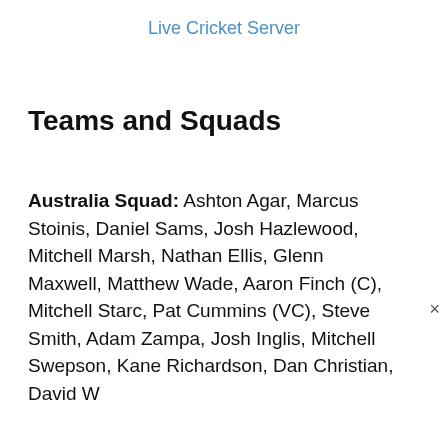Live Cricket Server
Teams and Squads
Australia Squad: Ashton Agar, Marcus Stoinis, Daniel Sams, Josh Hazlewood, Mitchell Marsh, Nathan Ellis, Glenn Maxwell, Matthew Wade, Aaron Finch (C), Mitchell Starc, Pat Cummins (VC), Steve Smith, Adam Zampa, Josh Inglis, Mitchell Swepson, Kane Richardson, Dan Christian, David W...